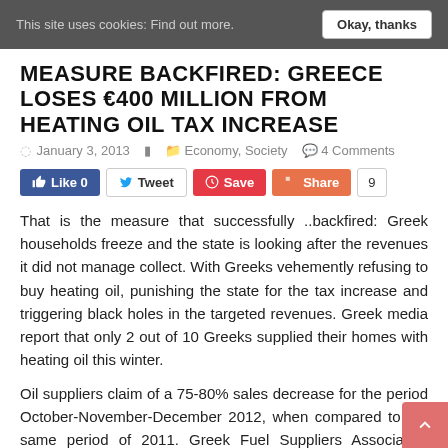This site uses cookies: Find out more. Okay, thanks
MEASURE BACKFIRED: GREECE LOSES €400 MILLION FROM HEATING OIL TAX INCREASE
January 3, 2013   Economy, Society   4 Comments
[Figure (infographic): Social sharing buttons: Like 0, Tweet, Save, Share, count 9]
That is the measure that successfully ..backfired: Greek households freeze and the state is looking after the revenues it did not manage collect. With Greeks vehemently refusing to buy heating oil, punishing the state for the tax increase and triggering black holes in the targeted revenues. Greek media report that only 2 out of 10 Greeks supplied their homes with heating oil this winter.
Oil suppliers claim of a 75-80% sales decrease for the period October-November-December 2012, when compared to the same period of 2011. Greek Fuel Suppliers Association estimates that the black hole in the state pockets are 400 million euro due to the sharp decrease in heating oil sales.